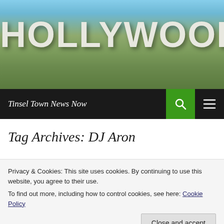[Figure (photo): Hollywood sign on hillside with blue sky background]
Tinsel Town News Now
Tag Archives: DJ Aron
[Figure (photo): Person sitting indoors, partial view, background shows brick building]
Privacy & Cookies: This site uses cookies. By continuing to use this website, you agree to their use.
To find out more, including how to control cookies, see here: Cookie Policy
Close and accept